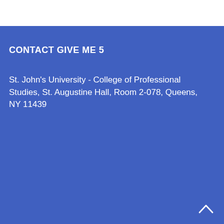CONTACT GIVE ME 5
St. John's University - College of Professional Studies, St. Augustine Hall, Room 2-078, Queens, NY 11439